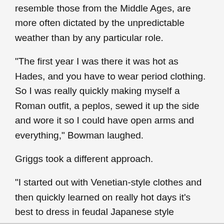resemble those from the Middle Ages, are more often dictated by the unpredictable weather than by any particular role.
“The first year I was there it was hot as Hades, and you have to wear period clothing. So I was really quickly making myself a Roman outfit, a peplos, sewed it up the side and wore it so I could have open arms and everything,” Bowman laughed.
Griggs took a different approach.
“I started out with Venetian-style clothes and then quickly learned on really hot days it’s best to dress in feudal Japanese style clothing, samurai style,” he said.